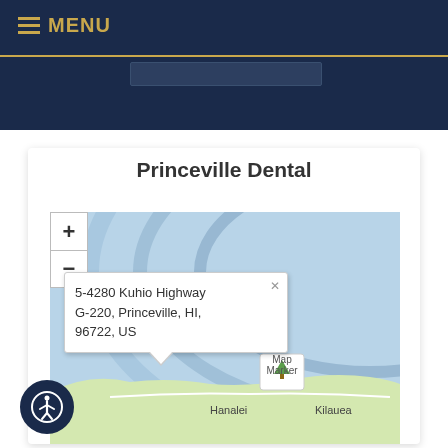MENU
Princeville Dental
[Figure (map): Interactive map showing location of Princeville Dental with zoom controls (+/-) and a popup address tooltip reading: 5-4280 Kuhio Highway G-220, Princeville, HI, 96722, US. Map shows coastal area of Kauai, Hawaii with Hanalei and Kilauea labeled.]